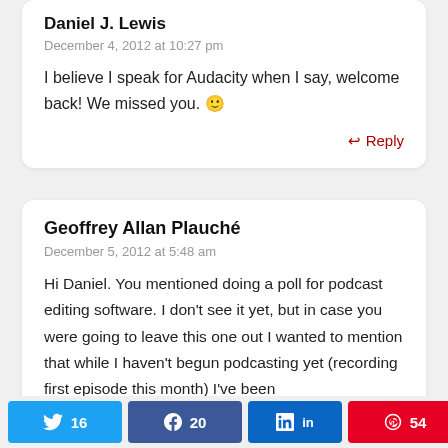Daniel J. Lewis (partial, cut off at top)
December 4, 2012 at 10:27 pm
I believe I speak for Audacity when I say, welcome back! We missed you. 🙂
↩ Reply
Geoffrey Allan Plauché
December 5, 2012 at 5:48 am
Hi Daniel. You mentioned doing a poll for podcast editing software. I don't see it yet, but in case you were going to leave this one out I wanted to mention that while I haven't begun podcasting yet (recording first episode this month) I've been
16  20  in  54  < 90 SHARES